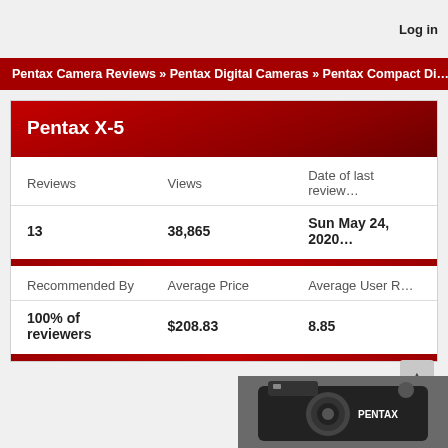Log in
Pentax Camera Reviews » Pentax Digital Cameras » Pentax Compact Di...
Pentax X-5
| Reviews | Views | Date of last review |
| --- | --- | --- |
| 13 | 38,865 | Sun May 24, 2020 |
| Recommended By | Average Price | Average User R... |
| --- | --- | --- |
| 100% of reviewers | $208.83 | 8.85 |
[Figure (photo): Pentax camera product photo at bottom right]